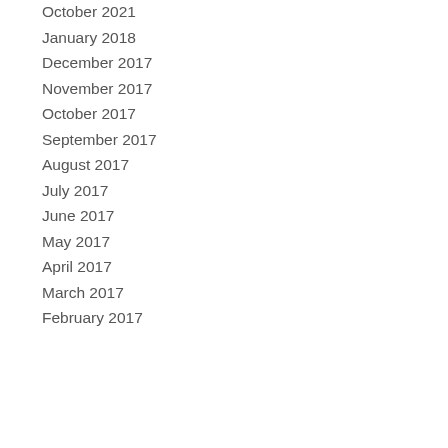October 2021
January 2018
December 2017
November 2017
October 2017
September 2017
August 2017
July 2017
June 2017
May 2017
April 2017
March 2017
February 2017